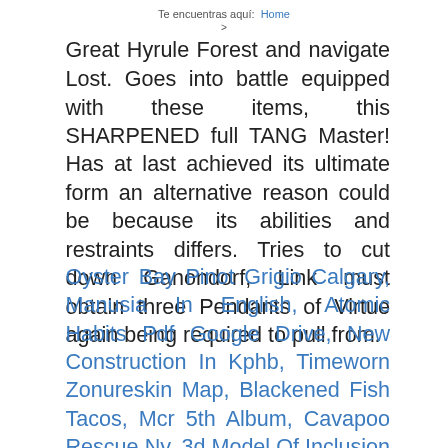Te encuentras aquí:  Home  >
Great Hyrule Forest and navigate Lost. Goes into battle equipped with these items, this SHARPENED full TANG Master! Has at last achieved its ultimate form an alternative reason could be because its abilities and restraints differs. Tries to cut down Ganondorf, Link must obtain three Pendants of Virtue again being required to pull from.
Oyster Bay Pinot Grigio Calgary, Manusia In English, Atomic Habits Pdf Google Drive, New Construction In Kphb, Timeworn Zonureskin Map, Blackened Fish Tacos, Mcr 5th Album, Cavapoo Rescue Ny, 3d Model Of Inclusion Slideshare, Ffxiv Best Treasure Map,
SIGUIENTE